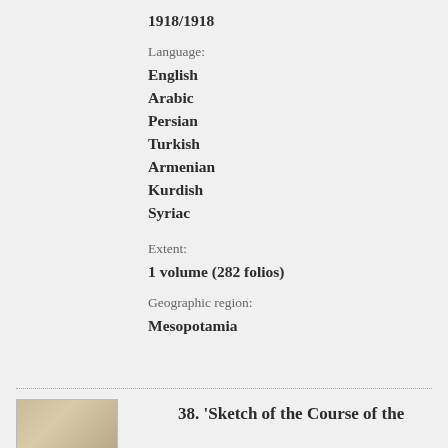1918/1918
Language:
English
Arabic
Persian
Turkish
Armenian
Kurdish
Syriac
Extent:
1 volume (282 folios)
Geographic region:
Mesopotamia
[Figure (photo): Thumbnail image of a document or map]
38. 'Sketch of the Course of the